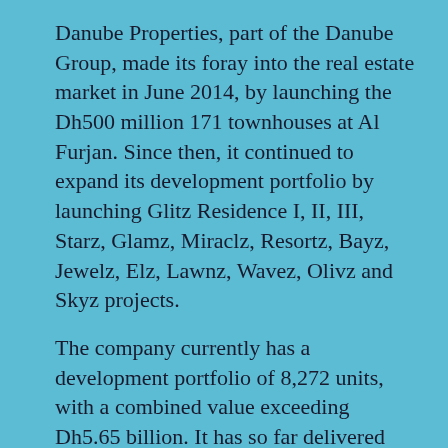Danube Properties, part of the Danube Group, made its foray into the real estate market in June 2014, by launching the Dh500 million 171 townhouses at Al Furjan. Since then, it continued to expand its development portfolio by launching Glitz Residence I, II, III, Starz, Glamz, Miraclz, Resortz, Bayz, Jewelz, Elz, Lawnz, Wavez, Olivz and Skyz projects.
The company currently has a development portfolio of 8,272 units, with a combined value exceeding Dh5.65 billion. It has so far delivered 4,556 units with a combined sales value of Dh3.63 billion – nearly two-thirds of the entire portfolio value.
For additional information on Danube Properties, visit: www.danubeproperties.ae
——
For more information...